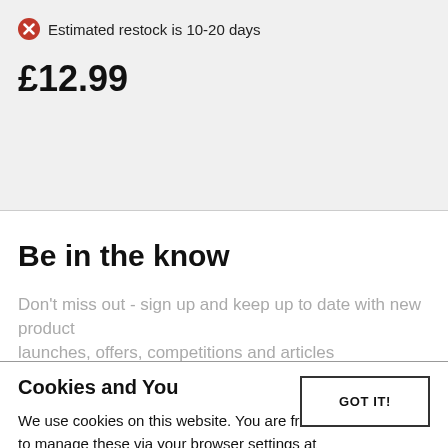Estimated restock is 10-20 days
£12.99
Be in the know
Don't miss out - sign up and keep up to date with new product launches, offers, competitions and articles
Cookies and You
GOT IT!
We use cookies on this website. You are free to manage these via your browser settings at any time. For more about how we use cookies, please see our Cookie Policy.